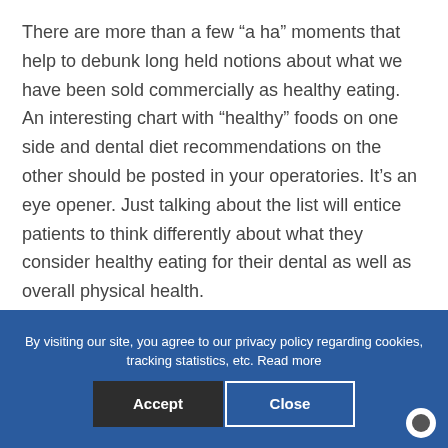There are more than a few “a ha” moments that help to debunk long held notions about what we have been sold commercially as healthy eating. An interesting chart with “healthy” foods on one side and dental diet recommendations on the other should be posted in your operatories. It’s an eye opener. Just talking about the list will entice patients to think differently about what they consider healthy eating for their dental as well as overall physical health.
By visiting our site, you agree to our privacy policy regarding cookies, tracking statistics, etc. Read more